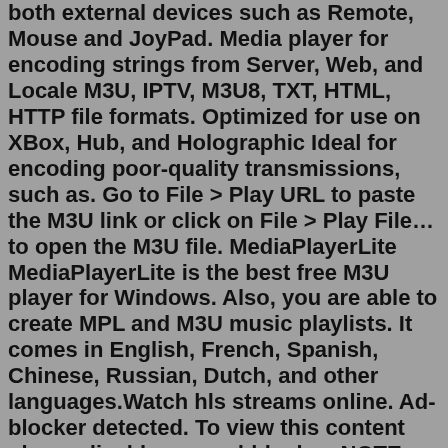both external devices such as Remote, Mouse and JoyPad. Media player for encoding strings from Server, Web, and Locale M3U, IPTV, M3U8, TXT, HTML, HTTP file formats. Optimized for use on XBox, Hub, and Holographic Ideal for encoding poor-quality transmissions, such as. Go to File > Play URL to paste the M3U link or click on File > Play File… to open the M3U file. MediaPlayerLite MediaPlayerLite is the best free M3U player for Windows. Also, you are able to create MPL and M3U music playlists. It comes in English, French, Spanish, Chinese, Russian, Dutch, and other languages.Watch hls streams online. Ad-blocker detected. To view this content please disable your ad-blocker. NOTE: To see option 2, you need to add the following extension for : Chrome or Firefox-Edge . How to embed! Step 2: Click on the " Open network stream ". Step 3: Enter the Free M3U URL and press " Play ". Step 4: Now your playlist is loaded, Press the combination between CTRL+L to bring up the playlist. Here you can choose or search for your desired channel and start watching Live